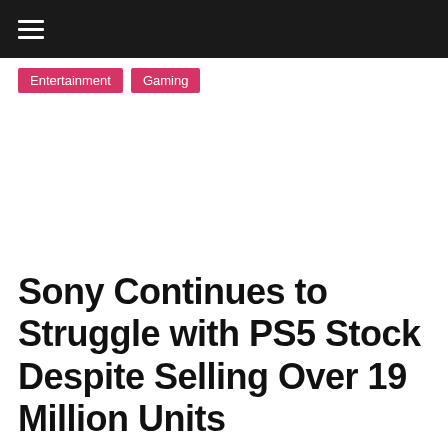≡
Entertainment
Gaming
Sony Continues to Struggle with PS5 Stock Despite Selling Over 19 Million Units
Biodun on May 10, 2022   0